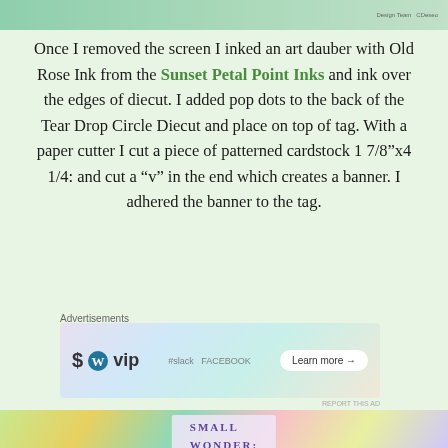[Figure (photo): Top portion of a crafted tag or decoration with teal/green colors]
Once I removed the screen I inked an art dauber with Old Rose Ink from the Sunset Petal Point Inks and ink over the edges of diecut. I added pop dots to the back of the Tear Drop Circle Diecut and place on top of tag. With a paper cutter I cut a piece of patterned cardstock 1 7/8”x4 1/4: and cut a “v” in the end which creates a banner. I adhered the banner to the tag.
[Figure (screenshot): WordPress VIP advertisement banner with Learn more button]
[Figure (photo): Close-up photo of a handmade tag with 'SMALL WONDER:' text, pink flower embellishment, and colorful patterned background]